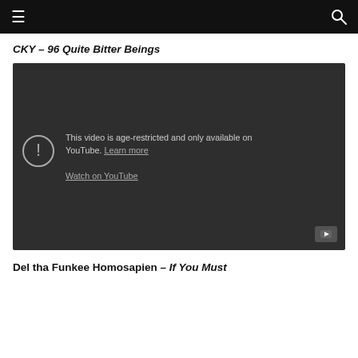≡  🔍
CKY – 96 Quite Bitter Beings
[Figure (screenshot): Embedded YouTube video player showing an age-restricted video warning. Text reads: 'This video is age-restricted and only available on YouTube. Learn more' and 'Watch on YouTube'. A YouTube play button icon is visible in the bottom-right corner.]
Del tha Funkee Homosapien – If You Must